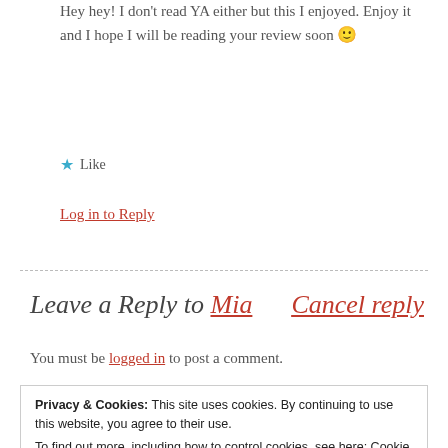Hey hey! I don't read YA either but this I enjoyed. Enjoy it and I hope I will be reading your review soon 🙂
★ Like
Log in to Reply
Leave a Reply to Mia   Cancel reply
You must be logged in to post a comment.
Privacy & Cookies: This site uses cookies. By continuing to use this website, you agree to their use.
To find out more, including how to control cookies, see here: Cookie Policy
Close and accept